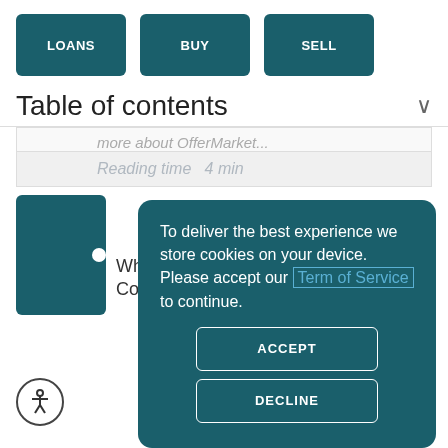[Figure (screenshot): Navigation buttons row with LOANS, BUY, SELL teal buttons]
Table of contents
more about OfferMarket...
Reading time 4 min
[Figure (screenshot): Cookie consent modal dialog with text: To deliver the best experience we store cookies on your device. Please accept our Term of Service to continue. Buttons: ACCEPT, DECLINE]
What to... Contractor